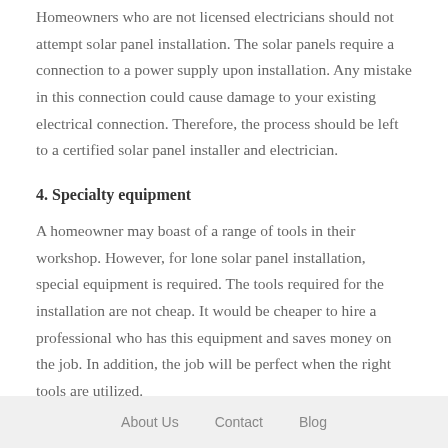Homeowners who are not licensed electricians should not attempt solar panel installation. The solar panels require a connection to a power supply upon installation. Any mistake in this connection could cause damage to your existing electrical connection. Therefore, the process should be left to a certified solar panel installer and electrician.
4. Specialty equipment
A homeowner may boast of a range of tools in their workshop. However, for lone solar panel installation, special equipment is required. The tools required for the installation are not cheap. It would be cheaper to hire a professional who has this equipment and saves money on the job. In addition, the job will be perfect when the right tools are utilized.
About Us   Contact   Blog